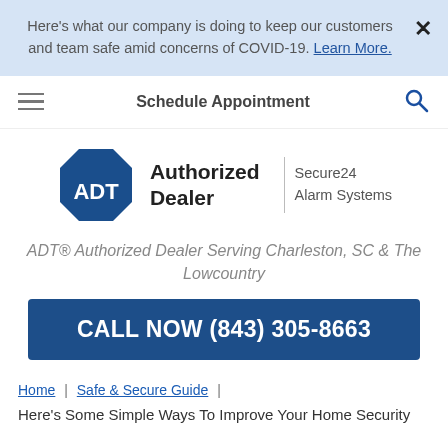Here's what our company is doing to keep our customers and team safe amid concerns of COVID-19. Learn More.
Schedule Appointment
[Figure (logo): ADT Authorized Dealer | Secure24 Alarm Systems logo]
ADT® Authorized Dealer Serving Charleston, SC & The Lowcountry
CALL NOW (843) 305-8663
Home | Safe & Secure Guide |
Here's Some Simple Ways To Improve Your Home Security